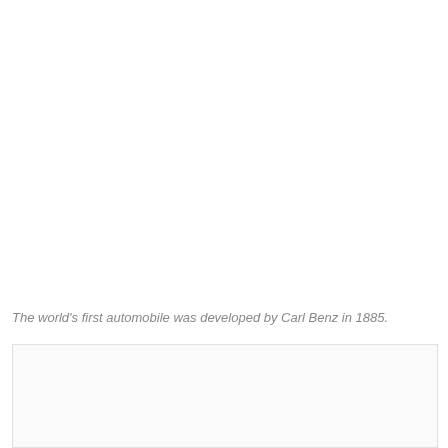The world's first automobile was developed by Carl Benz in 1885.
[Figure (photo): Image placeholder area below the caption]